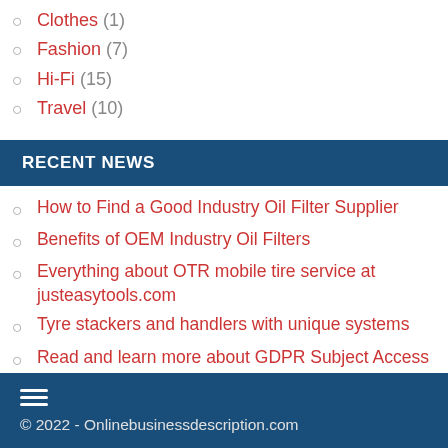Clothes (1)
Fashion (7)
Hi-Fi (15)
Travel (10)
RECENT NEWS
How to Find a Good Industry Oil Filter Supplier
Benefits of OEM Industry Oil Filters
Everything about OTR mobile tire service at justeasytools.com
Tyre stackers and handlers with unique systems
Read and learn more about GDPR Subject Access Request Tool and Data Discovery Tool at 2BM
© 2022 - Onlinebusinessdescription.com